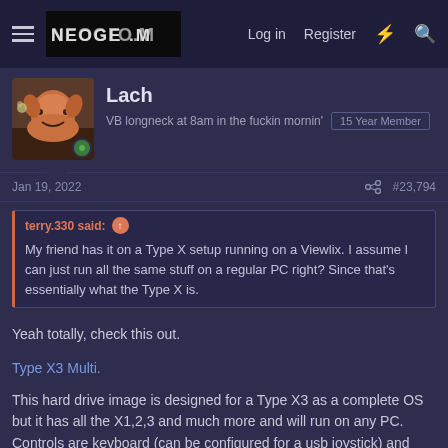Neogeoforum — Log in  Register
Lach
VB longneck at 8am in the fuckin mornin'  15 Year Member
Jan 19, 2022  #23,794
terry.330 said: ↑
My friend has it on a Type X setup running on a Viewlix. I assume I can just run all the same stuff on a regular PC right? Since that's essentially what the Type X is.
Yeah totally, check this out.
Type X3 Multi.
This hard drive image is designed for a Type X3 as a complete OS but it has all the X1,2,3 and much more and will run on any PC. Controls are keyboard (can be configured for a usb joystick) and Taito IO. I have this running on my vewlix in a custom type x3 build, can literally forget about buying hardware with this thing.